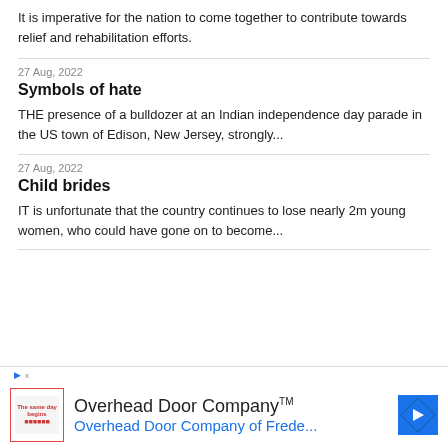It is imperative for the nation to come together to contribute towards relief and rehabilitation efforts.
27 Aug, 2022
Symbols of hate
THE presence of a bulldozer at an Indian independence day parade in the US town of Edison, New Jersey, strongly...
27 Aug, 2022
Child brides
IT is unfortunate that the country continues to lose nearly 2m young women, who could have gone on to become...
[Figure (other): Advertisement for Overhead Door Company with logo and blue navigation arrow icon. Text reads 'Overhead Door Company™' and 'Overhead Door Company of Frede...']